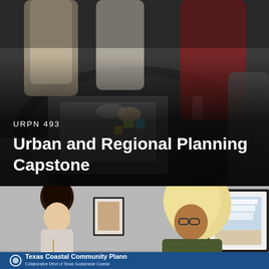[Figure (photo): Overhead view of people gathered around a dark table working on planning materials with papers and colorful sticky notes]
URPN 493
Urban and Regional Planning Capstone
[Figure (photo): Two women conversing in a gallery or exhibit space with framed pictures on the wall and a Texas Coastal Community Planning banner visible at the bottom]
Texas Coastal Community Planning